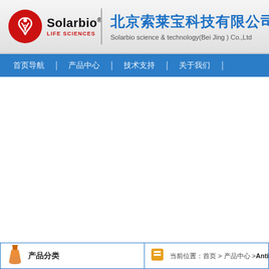[Figure (logo): Solarbio Life Sciences logo with red circle containing stylized leaf/flask icon, company name in Chinese and English]
北京索莱宝科技有限公司
Solarbio science & technology(Bei Jing ) Co.,Ltd
首页导航 | 产品中心 | 技术支持 | 关于我们 |
[Figure (illustration): Blue bottle/flask icon]
产品分类
[Figure (illustration): Orange/yellow product icon]
当前位置：首页 > 产品中心 > Anti-ABHD